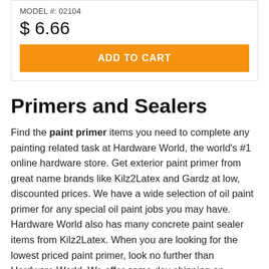MODEL #: 02104
$ 6.66
ADD TO CART
Primers and Sealers
Find the paint primer items you need to complete any painting related task at Hardware World, the world's #1 online hardware store. Get exterior paint primer from great name brands like Kilz2Latex and Gardz at low, discounted prices. We have a wide selection of oil paint primer for any special oil paint jobs you may have. Hardware World also has many concrete paint sealer items from Kilz2Latex. When you are looking for the lowest priced paint primer, look no further than Hardware World. We offer same day shipping on exterior paint primer and on oil paint primer. Purchase concrete paint sealer or any of our other paint primer items and you don't have to pay the sales tax (unless